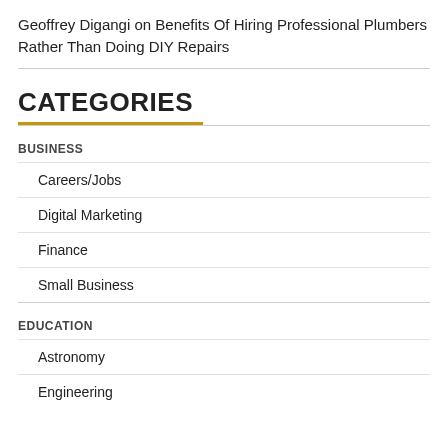Geoffrey Digangi on Benefits Of Hiring Professional Plumbers Rather Than Doing DIY Repairs
CATEGORIES
BUSINESS
Careers/Jobs
Digital Marketing
Finance
Small Business
EDUCATION
Astronomy
Engineering